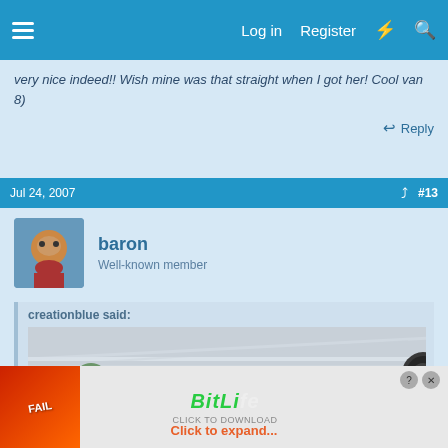Log in  Register
very nice indeed!! Wish mine was that straight when I got her! Cool van 8)
Reply
Jul 24, 2007  #13
baron
Well-known member
creationblue said:
[Figure (photo): A cropped photo of the side of a van, showing chrome trim lines and a side mirror, with palm trees visible in the background.]
[Figure (screenshot): BitLife advertisement banner with 'Click to expand...' text in orange.]